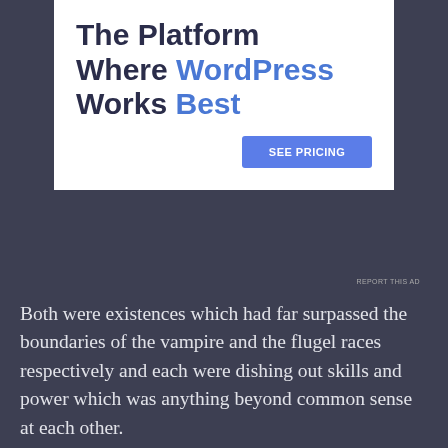[Figure (screenshot): Advertisement banner for WordPress hosting platform. White background with bold text 'The Platform Where WordPress Works Best' and a blue 'SEE PRICING' button. 'WordPress' and 'Best' are highlighted in blue.]
Both were existences which had far surpassed the boundaries of the vampire and the flugel races respectively and each were dishing out skills and power which was anything beyond common sense at each other.
For Boneknash, it was the moment of exhilaration
[Figure (screenshot): Advertisement banner for Victoria's Secret. Pink background with VS logo, text 'SHOP THE COLLECTION' and a white 'SHOP NOW' button.]